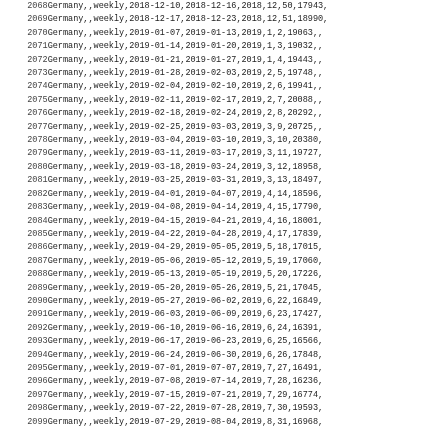| row_num | data |
| --- | --- |
| 2068 | Germany,,weekly,2018-12-10,2018-12-16,2018,12,50,17943, |
| 2069 | Germany,,weekly,2018-12-17,2018-12-23,2018,12,51,18990, |
| 2070 | Germany,,weekly,2019-01-07,2019-01-13,2019,1,2,19063,, |
| 2071 | Germany,,weekly,2019-01-14,2019-01-20,2019,1,3,19032,, |
| 2072 | Germany,,weekly,2019-01-21,2019-01-27,2019,1,4,19443,, |
| 2073 | Germany,,weekly,2019-01-28,2019-02-03,2019,2,5,19748,, |
| 2074 | Germany,,weekly,2019-02-04,2019-02-10,2019,2,6,19941,, |
| 2075 | Germany,,weekly,2019-02-11,2019-02-17,2019,2,7,20088,, |
| 2076 | Germany,,weekly,2019-02-18,2019-02-24,2019,2,8,20292,, |
| 2077 | Germany,,weekly,2019-02-25,2019-03-03,2019,3,9,20725,, |
| 2078 | Germany,,weekly,2019-03-04,2019-03-10,2019,3,10,20380, |
| 2079 | Germany,,weekly,2019-03-11,2019-03-17,2019,3,11,19727, |
| 2080 | Germany,,weekly,2019-03-18,2019-03-24,2019,3,12,18958, |
| 2081 | Germany,,weekly,2019-03-25,2019-03-31,2019,3,13,18497, |
| 2082 | Germany,,weekly,2019-04-01,2019-04-07,2019,4,14,18596, |
| 2083 | Germany,,weekly,2019-04-08,2019-04-14,2019,4,15,17790, |
| 2084 | Germany,,weekly,2019-04-15,2019-04-21,2019,4,16,18001, |
| 2085 | Germany,,weekly,2019-04-22,2019-04-28,2019,4,17,17839, |
| 2086 | Germany,,weekly,2019-04-29,2019-05-05,2019,5,18,17015, |
| 2087 | Germany,,weekly,2019-05-06,2019-05-12,2019,5,19,17060, |
| 2088 | Germany,,weekly,2019-05-13,2019-05-19,2019,5,20,17226, |
| 2089 | Germany,,weekly,2019-05-20,2019-05-26,2019,5,21,17045, |
| 2090 | Germany,,weekly,2019-05-27,2019-06-02,2019,6,22,16849, |
| 2091 | Germany,,weekly,2019-06-03,2019-06-09,2019,6,23,17427, |
| 2092 | Germany,,weekly,2019-06-10,2019-06-16,2019,6,24,16391, |
| 2093 | Germany,,weekly,2019-06-17,2019-06-23,2019,6,25,16566, |
| 2094 | Germany,,weekly,2019-06-24,2019-06-30,2019,6,26,17848, |
| 2095 | Germany,,weekly,2019-07-01,2019-07-07,2019,7,27,16491, |
| 2096 | Germany,,weekly,2019-07-08,2019-07-14,2019,7,28,16236, |
| 2097 | Germany,,weekly,2019-07-15,2019-07-21,2019,7,29,16774, |
| 2098 | Germany,,weekly,2019-07-22,2019-07-28,2019,7,30,19593, |
| 2099 | Germany,,weekly,2019-07-29,2019-08-04,2019,8,31,16968, |